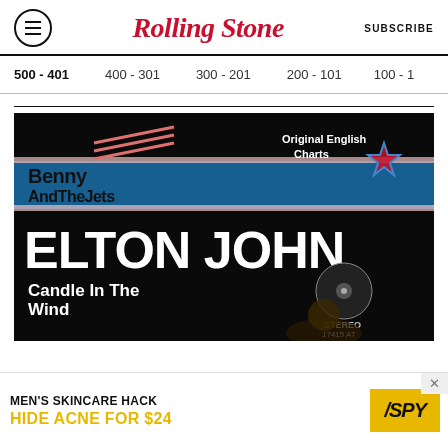Rolling Stone — SUBSCRIBE
500 - 401 | 400 - 301 | 300 - 201 | 200 - 101 | 100 - 1
[Figure (photo): Album cover for 'Benny And The Jets' by Elton John, also showing 'Candle In The Wind'. Text reads 'Benny And The Jets', 'ELTON JOHN', 'Candle In The Wind', 'Original English Charts', 'STEREO 17415 AT'.]
MEN'S SKINCARE HACK HIDE ACNE FOR $24 / SPY